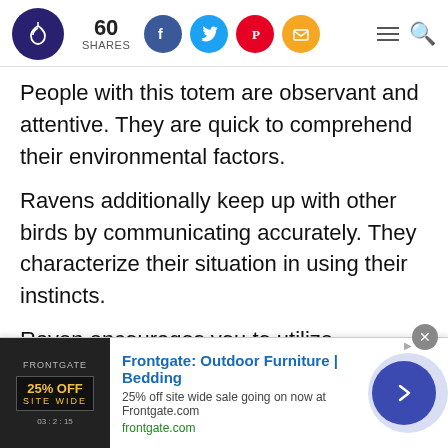60 SHARES — social sharing bar with Facebook, Twitter, Pinterest, Email icons, hamburger menu, search
People with this totem are observant and attentive. They are quick to comprehend their environmental factors.
Ravens additionally keep up with other birds by communicating accurately. They characterize their situation in using their instincts.
Raven encourages you to utilize extraordinary insight into all parts of your life.
[Figure (screenshot): Advertisement banner: Frontgate Outdoor Furniture | Bedding. 25% off site wide sale going on now at Frontgate.com. frontgate.com]